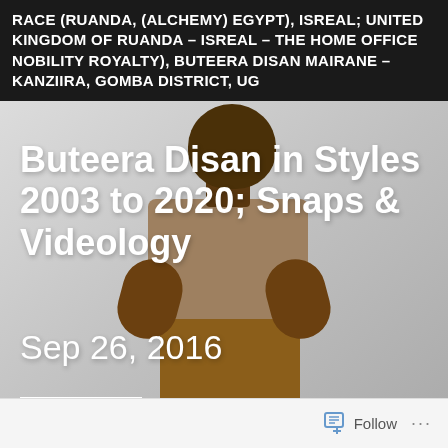RACE (RUANDA, (ALCHEMY) EGYPT), ISREAL; UNITED KINGDOM OF RUANDA – ISREAL – THE HOME OFFICE NOBILITY ROYALTY), BUTEERA DISAN MAIRANE – KANZIIRA, GOMBA DISTRICT, UG
[Figure (photo): A young man seated in a chair against a light background, wearing a khaki/beige t-shirt and shorts, with overlaid text showing blog post title and date, and a Read more button]
Buteera Disan in Styles 2003 to 2020; Snaps & Videology
Sep 26, 2016
Read more
Follow ...